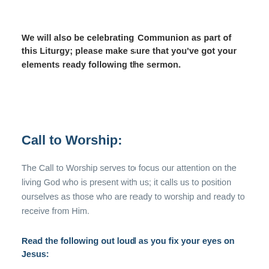We will also be celebrating Communion as part of this Liturgy; please make sure that you've got your elements ready following the sermon.
Call to Worship:
The Call to Worship serves to focus our attention on the living God who is present with us; it calls us to position ourselves as those who are ready to worship and ready to receive from Him.
Read the following out loud as you fix your eyes on Jesus: